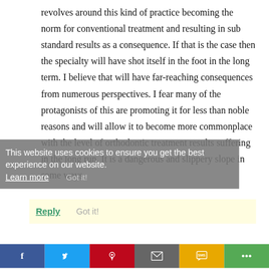revolves around this kind of practice becoming the norm for conventional treatment and resulting in sub standard results as a consequence. If that is the case then the specialty will have shot itself in the foot in the long term. I believe that will have far-reaching consequences from numerous perspectives. I fear many of the protagonists of this are promoting it for less than noble reasons and will allow it to become more commonplace with the level of orthodontic treatment results suffering in the long run. It is a dangerous and slippery slope in some ways.
This website uses cookies to ensure you get the best experience on our website. Learn more
Got it!
Reply
[Figure (other): Social sharing bar with icons for Facebook, Twitter, Pinterest, Email, SMS, and Share/More buttons]